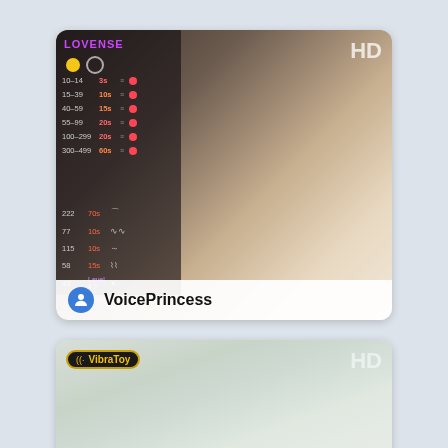[Figure (screenshot): Webcam stream card showing a blonde woman sitting on a bed in a white top with tattoos on her arm. Left side has a dark Lovense overlay panel with tier settings (10-14: 3s, 15-39: 10s, 40-59: 15s, 55-99: 20s, 100-299: 20s, 300-499: 60s) and wave patterns (222 70s, 77 10s, 115 10s, 58 15s, 43 Level 4.5, 111 Level to Surprise). HD badge top right. Bottom bar shows avatar icon and username VoicePrincess.]
[Figure (screenshot): Webcam stream card showing a blurry/unclear stream with pastel green/cream background. VibraToy badge top left with gold border. HD badge top right.]